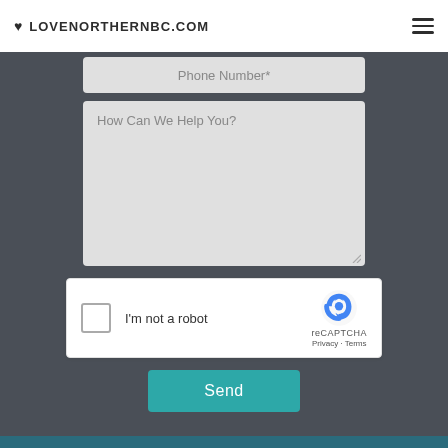LOVENORTHERNBC.COM
Phone Number*
How Can We Help You?
[Figure (other): reCAPTCHA widget with checkbox labeled I'm not a robot and reCAPTCHA logo with Privacy and Terms links]
Send